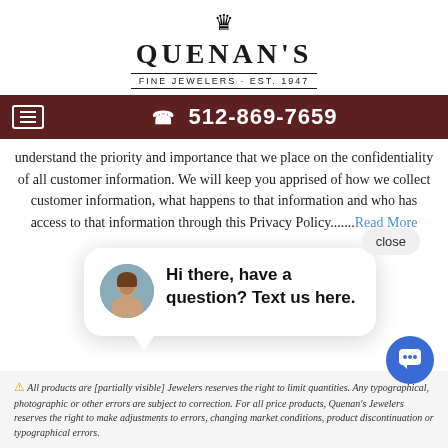[Figure (logo): Quenan's Fine Jewelers logo with crown emblem, serif wordmark, and tagline 'FINE JEWELERS · EST. 1947']
☎ 512-869-7659
understand the priority and importance that we place on the confidentiality of all customer information. We will keep you apprised of how we collect customer information, what happens to that information and who has access to that information through this Privacy Policy.......Read More
[Figure (screenshot): Chat popup with woman avatar photo and text 'Hi there, have a question? Text us here.']
All products are [partially obscured] Jewelers reserves the right to limit quantities. Any typographical, photographic or other errors are subject to correction. For all price products, Quenan's Jewelers reserves the right to make adjustments to errors, changing market conditions, product discontinuation or typographical errors.